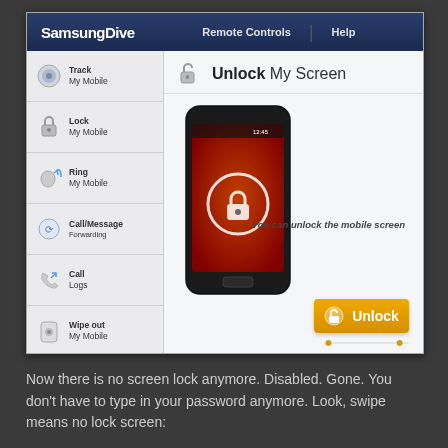[Figure (screenshot): SamsungDive web interface showing 'Unlock My Screen' feature with sidebar navigation items (Track My Mobile, Lock My Mobile, Ring My Mobile, Call/Message Forwarding, Call Logs, Wipe out My Mobile, Unlock My Screen - selected), a phone image with lock icon, and an orange Unlock button]
Now there is no screen lock anymore. Disabled. Gone. You don't have to type in your password anymore. Look, swipe means no lock screen: